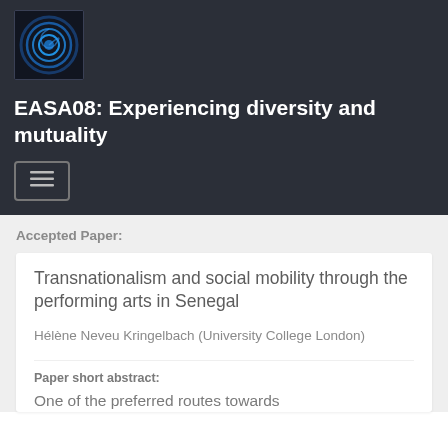[Figure (logo): EASA circular logo with concentric rings on dark background]
EASA08: Experiencing diversity and mutuality
[Figure (other): Hamburger menu button with three horizontal lines]
Accepted Paper:
Transnationalism and social mobility through the performing arts in Senegal
Hélène Neveu Kringelbach (University College London)
Paper short abstract:
One of the preferred routes towards